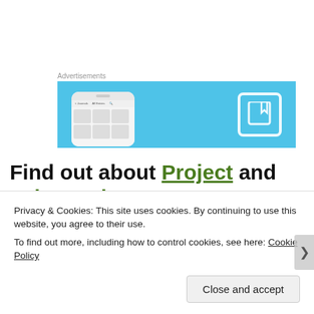Advertisements
[Figure (screenshot): Advertisement banner with light blue background showing a smartphone with app interface on the left and a white book/reading icon outline on the right]
Find out about Project and Fairpromise
Sponsored Content
Privacy & Cookies: This site uses cookies. By continuing to use this website, you agree to their use.
To find out more, including how to control cookies, see here: Cookie Policy
Close and accept